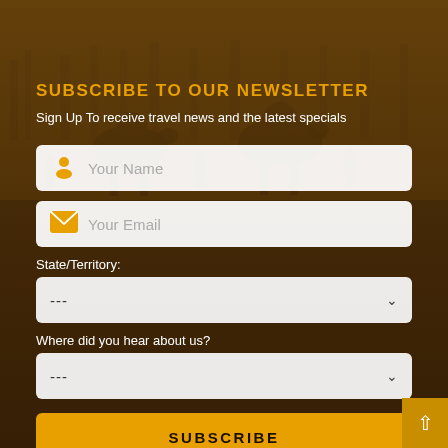[Figure (photo): Background photo of camels and people in a desert/market setting, with a dark brown overlay]
SUBSCRIBE TO OUR NEWSLETTER
Sign Up To receive travel news and the latest specials
Your Name (input field)
Your Email (input field)
State/Territory:
--- (dropdown)
Where did you hear about us?
--- (dropdown)
SUBSCRIBE (button)